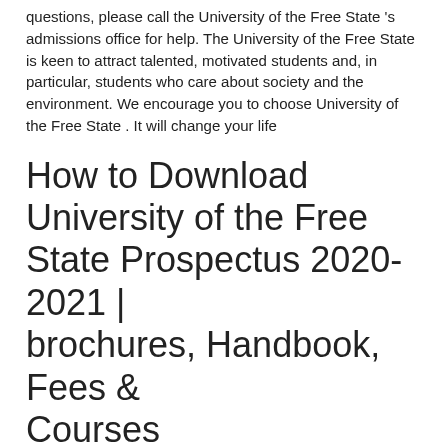questions, please call the University of the Free State 's admissions office for help. The University of the Free State is keen to attract talented, motivated students and, in particular, students who care about society and the environment. We encourage you to choose University of the Free State . It will change your life
How to Download University of the Free State Prospectus 2020-2021 | brochures, Handbook, Fees & Courses
On your browser kindly login to University of the Free State Official website...http://www.ufs.ac.za (University of the Free State Student Portal) it is advisable that you always visit the University of the Free State website for latest info.